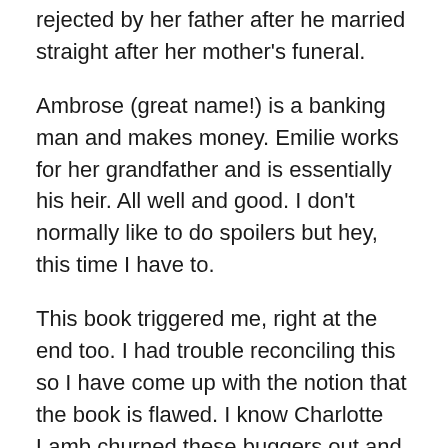rejected by her father after he married straight after her mother's funeral.
Ambrose (great name!) is a banking man and makes money. Emilie works for her grandfather and is essentially his heir. All well and good. I don't normally like to do spoilers but hey, this time I have to.
This book triggered me, right at the end too. I had trouble reconciling this so I have come up with the notion that the book is flawed. I know Charlotte Lamb churned these buggers out and maybe she didn't think this one through, because there were some perfectly good opportunities to make it work out better. OMG! I can't believe I'm being critical.
Firstly there was a burglary. There was a good setup for